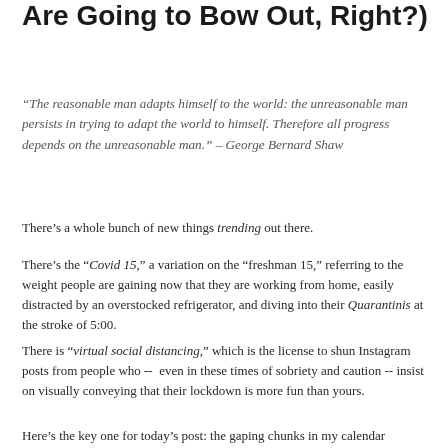Are Going to Bow Out, Right?)
“The reasonable man adapts himself to the world: the unreasonable man persists in trying to adapt the world to himself. Therefore all progress depends on the unreasonable man.” – George Bernard Shaw
There’s a whole bunch of new things trending out there.
There’s the “Covid 15,” a variation on the “freshman 15,” referring to the weight people are gaining now that they are working from home, easily distracted by an overstocked refrigerator, and diving into their Quarantinis at the stroke of 5:00.
There is “virtual social distancing,” which is the license to shun Instagram posts from people who --  even in these times of sobriety and caution -- insist on visually conveying that their lockdown is more fun than yours.
Here’s the key one for today’s post: the gaping chunks in my calendar